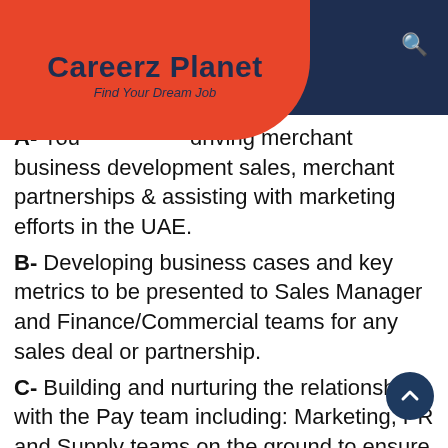Careerz Planet — Find Your Dream Job
A- You [are] driving merchant business development sales, merchant partnerships & assisting with marketing efforts in the UAE.
B- Developing business cases and key metrics to be presented to Sales Manager and Finance/Commercial teams for any sales deal or partnership.
C- Building and nurturing the relationship with the Pay team including: Marketing, PR and Supply teams on the ground to ensure timely…